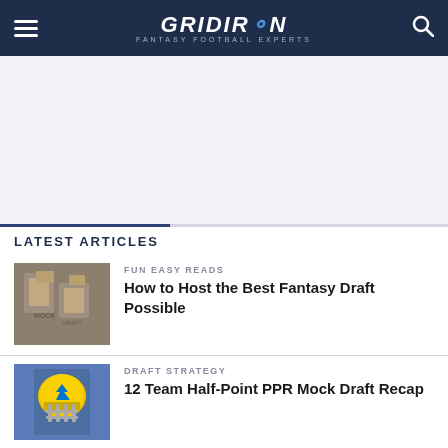GRIDIRON FANTASY FOOTBALL EXPERTS
[Figure (other): Advertisement banner placeholder area, light gray background]
LATEST ARTICLES
[Figure (photo): Article thumbnail image showing a collage with trophy/money imagery for the fantasy draft article]
FUN EASY READS
How to Host the Best Fantasy Draft Possible
[Figure (photo): Article thumbnail image showing an LA Chargers football player in helmet and uniform]
DRAFT STRATEGY
12 Team Half-Point PPR Mock Draft Recap